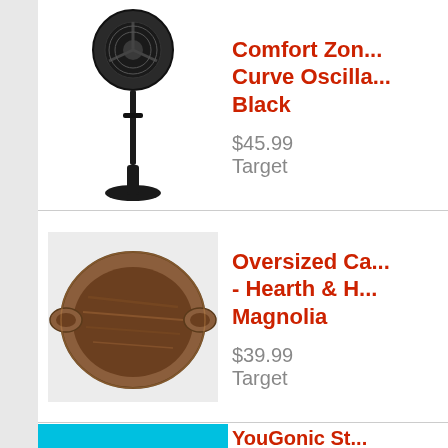[Figure (photo): Black oscillating stand fan on a pedestal base]
Comfort Zon... Curve Oscilla... Black
$45.99
Target
[Figure (photo): Oversized round wooden cutting board / serving tray with handles, natural acacia wood]
Oversized Ca... - Hearth & H... Magnolia
$39.99
Target
YouGonic St...